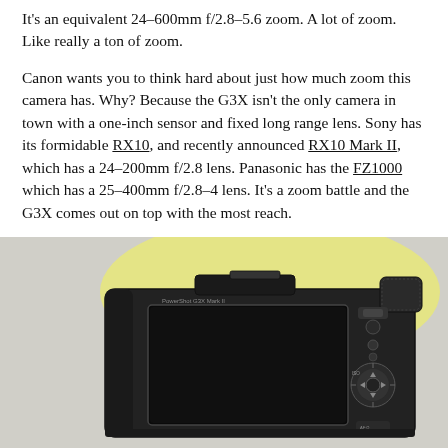It's an equivalent 24–600mm f/2.8–5.6 zoom. A lot of zoom. Like really a ton of zoom.
Canon wants you to think hard about just how much zoom this camera has. Why? Because the G3X isn't the only camera in town with a one-inch sensor and fixed long range lens. Sony has its formidable RX10, and recently announced RX10 Mark II, which has a 24–200mm f/2.8 lens. Panasonic has the FZ1000 which has a 25–400mm f/2.8–4 lens. It's a zoom battle and the G3X comes out on top with the most reach.
[Figure (photo): Rear view of Canon PowerShot G3X camera showing the LCD screen, control dial, and buttons against a light background with yellow glow effect.]